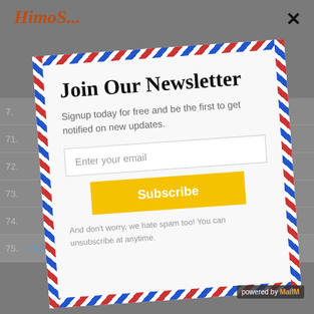[Figure (screenshot): Background of a webpage showing a numbered list table with rows 71-75, partially visible. Row 75 shows 'Guru Gobind Singh Indraprastha University' as a blue link.]
Join Our Newsletter
Signup today for free and be the first to get notified on new updates.
Enter your email
Subscribe
And don't worry, we hate spam too! You can unsubscribe at anytime.
powered by MailMunch